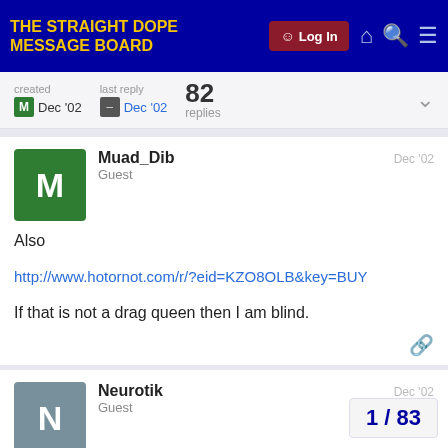THE STRAIGHT DOPE MESSAGE BOARD
created Dec '02  last reply Dec '02  82 replies
Muad_Dib  Guest  Dec '02
Also
http://www.hotornot.com/r/?eid=KZO8OLB&key=BUY
If that is not a drag queen then I am blind.
Neurotik  Guest  Dec '02
I can't believe you still go to this site. That ago. Or three. I can't remember it was so lo
1 / 83